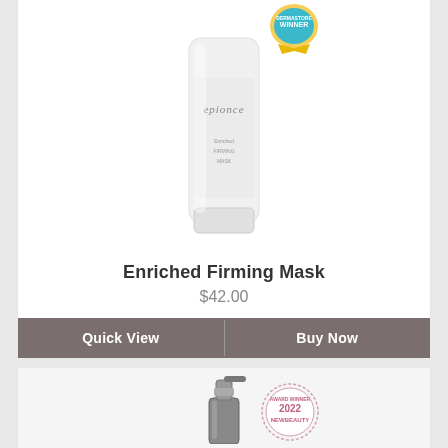[Figure (photo): Epionce Enriched Firming Mask product tube with award badge]
Enriched Firming Mask
$42.00
Quick View | Buy Now
[Figure (photo): Epionce pump bottle product with 2022 NewBeauty Award Winner badge]